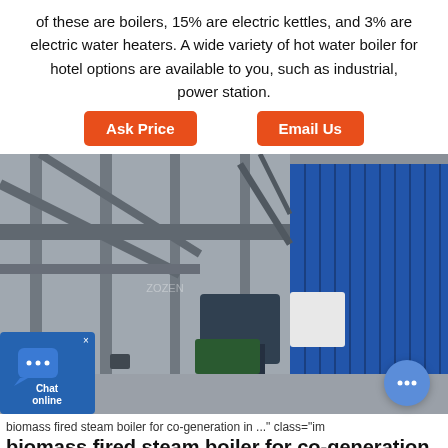of these are boilers, 15% are electric kettles, and 3% are electric water heaters. A wide variety of hot water boiler for hotel options are available to you, such as industrial, power station.
Ask Price   Email Us
[Figure (photo): Industrial biomass fired steam boiler facility interior showing steel structure, blue boiler panels, pipes, and machinery]
biomass fired steam boiler for co-generation in ..." class="im
biomass fired steam boiler for co-generation